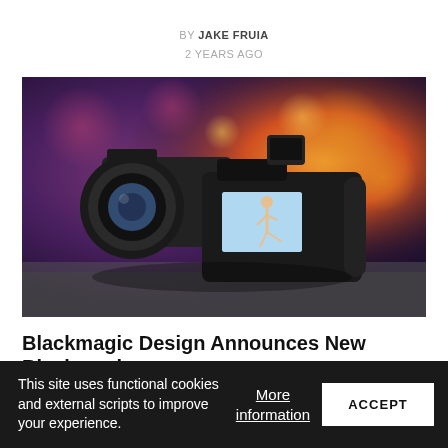BY JAKE FRUIA
2 YEARS AGO
[Figure (photo): Two Blackmagic Design cameras on a blurred purple and orange bokeh background. The foreground camera shows a rear LCD screen displaying a person kicking. The background camera has a large lens attached.]
Blackmagic Design Announces New Blackmagic
This site uses functional cookies and external scripts to improve your experience.
More information
ACCEPT